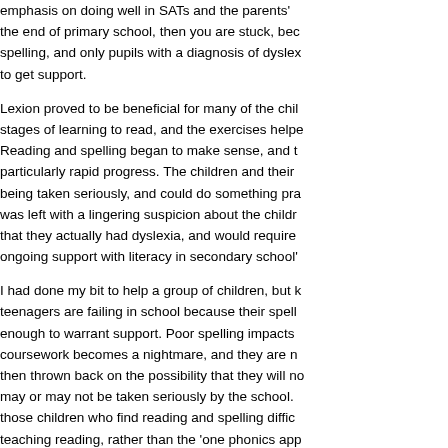emphasis on doing well in SATs and the parents' g... the end of primary school, then you are stuck, bec... spelling, and only pupils with a diagnosis of dyslex... to get support.
Lexion proved to be beneficial for many of the chi... stages of learning to read, and the exercises help... Reading and spelling began to make sense, and t... particularly rapid progress. The children and their... being taken seriously, and could do something pr... was left with a lingering suspicion about the childr... that they actually had dyslexia, and would require... ongoing support with literacy in secondary school...
I had done my bit to help a group of children, but k... teenagers are failing in school because their spell... enough to warrant support. Poor spelling impacts... coursework becomes a nightmare, and they are n... then thrown back on the possibility that they will n... may or may not be taken seriously by the school.... those children who find reading and spelling difficu... teaching reading, rather than the 'one phonics app... throughout England.
A good place to start is to know which children in s... they are likely to have literacy problems, until prov...
For more information about Lexion and the links b... difficulties, click here and here.
https://www.youtube.com/watch?v=j4xoxFrRA2Q
Sign up for Michael's weekly blog post by click...